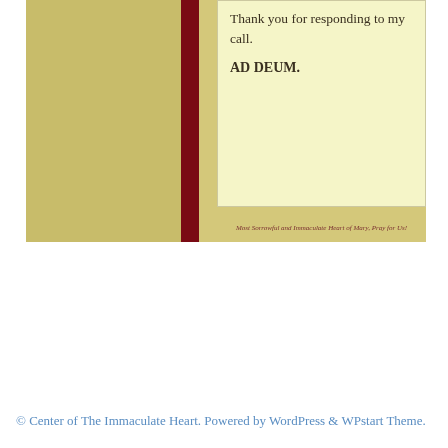[Figure (illustration): Book cover image showing a two-panel layout with a dark red spine. The right panel has a cream-colored text box with the text 'Thank you for responding to my call.' and 'AD DEUM.' followed by italic text 'Most Sorrowful and Immaculate Heart of Mary, Pray for Us!']
© Center of The Immaculate Heart. Powered by WordPress & WPstart Theme.